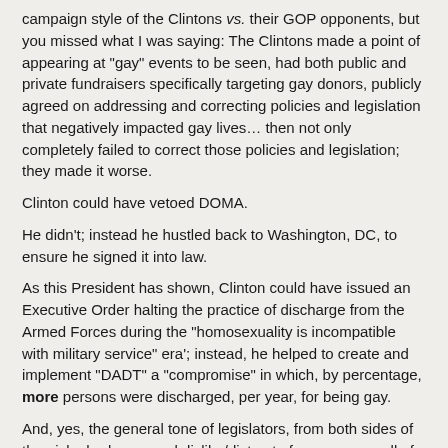campaign style of the Clintons vs. their GOP opponents, but you missed what I was saying: The Clintons made a point of appearing at "gay" events to be seen, had both public and private fundraisers specifically targeting gay donors, publicly agreed on addressing and correcting policies and legislation that negatively impacted gay lives… then not only completely failed to correct those policies and legislation; they made it worse.
Clinton could have vetoed DOMA.
He didn't; instead he hustled back to Washington, DC, to ensure he signed it into law.
As this President has shown, Clinton could have issued an Executive Order halting the practice of discharge from the Armed Forces during the "homosexuality is incompatible with military service" era'; instead, he helped to create and implement "DADT" a "compromise" in which, by percentage, more persons were discharged, per year, for being gay.
And, yes, the general tone of legislators, from both sides of the aisle, had a general dislike/distrust of gays so, no, all of this did not happen in a vacuum. There's more than enough blame to go around.